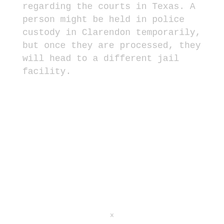regarding the courts in Texas. A person might be held in police custody in Clarendon temporarily, but once they are processed, they will head to a different jail facility.
x